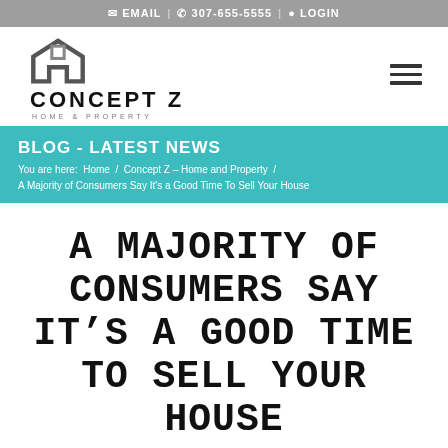✉ EMAIL | ✆ 307-655-5555 | ⚲ LOGIN
[Figure (logo): Concept Z Home & Property logo with geometric building icon]
BLOG - LATEST NEWS
You are here: Home / Concept Z – Home and Property / A Majority of Consumers Say It's a Good Time To Sell Your House
A MAJORITY OF CONSUMERS SAY IT'S A GOOD TIME TO SELL YOUR HOUSE